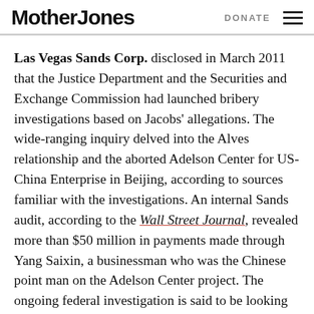Mother Jones | DONATE
Las Vegas Sands Corp. disclosed in March 2011 that the Justice Department and the Securities and Exchange Commission had launched bribery investigations based on Jacobs' allegations. The wide-ranging inquiry delved into the Alves relationship and the aborted Adelson Center for US-China Enterprise in Beijing, according to sources familiar with the investigations. An internal Sands audit, according to the Wall Street Journal, revealed more than $50 million in payments made through Yang Saixin, a businessman who was the Chinese point man on the Adelson Center project. The ongoing federal investigation is said to be looking